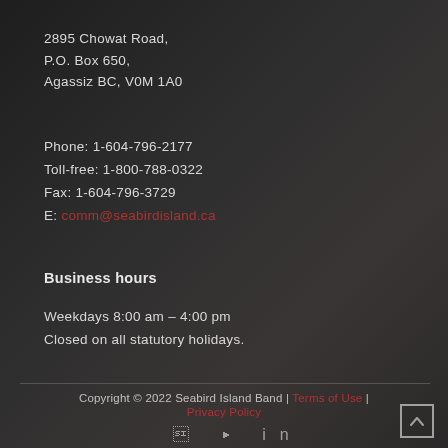2895 Chowat Road,
P.O. Box 650,
Agassiz BC, V0M 1A0
Phone: 1-604-796-2177
Toll-free: 1-800-788-0322
Fax: 1-604-796-3729
E: comm@seabirdisland.ca
Business hours
Weekdays 8:00 am – 4:00 pm
Closed on all statutory holidays.
Copyright © 2022 Seabird Island Band | Terms of Use | Privacy Policy